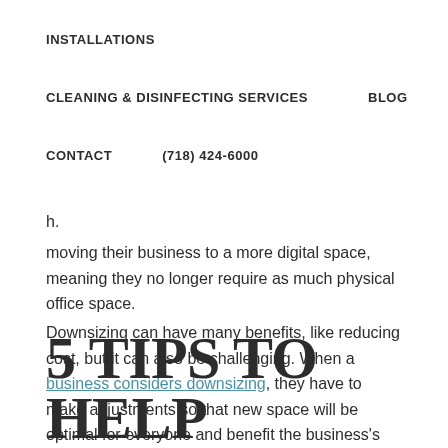INSTALLATIONS
CLEANING & DISINFECTING SERVICES    BLOG
CONTACT    (718) 424-6000
h.
moving their business to a more digital space, meaning they no longer require as much physical office space.
Downsizing can have many benefits, like reducing cost, but it can also be challenging. When a business considers downsizing, they have to make adjustments so that new space will be optimal for everyone and benefit the business's growth.
5 TIPS TO HELP